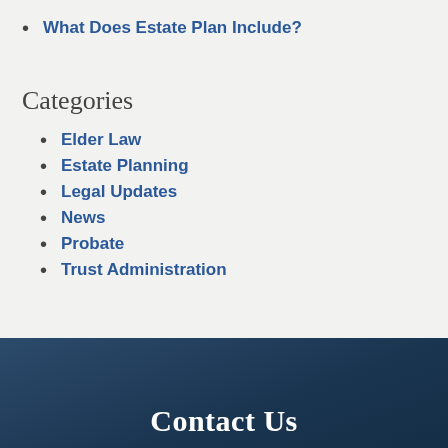What Does Estate Plan Include?
Categories
Elder Law
Estate Planning
Legal Updates
News
Probate
Trust Administration
Contact Us